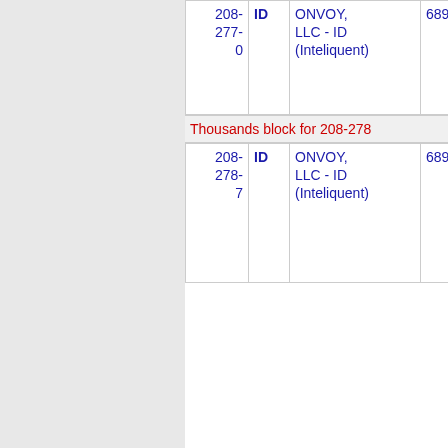| Number | Type | Name | Code | Location |
| --- | --- | --- | --- | --- |
| 208-277-0 | ID | ONVOY, LLC - ID (Inteliquent) | 689F | COERDAL... |
Thousands block for 208-278
| Number | Type | Name | Code | Location |
| --- | --- | --- | --- | --- |
| 208-278-7 | ID | ONVOY, LLC - ID (Inteliquent) | 689F | NEW PLYM... |